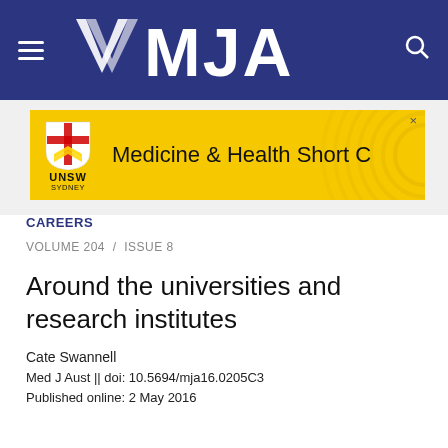MJA
[Figure (logo): UNSW Sydney logo with text 'Medicine & Health Short C' advertisement banner on yellow background]
CAREERS
VOLUME 204 / ISSUE 8
Around the universities and research institutes
Cate Swannell
Med J Aust || doi: 10.5694/mja16.0205C3
Published online: 2 May 2016